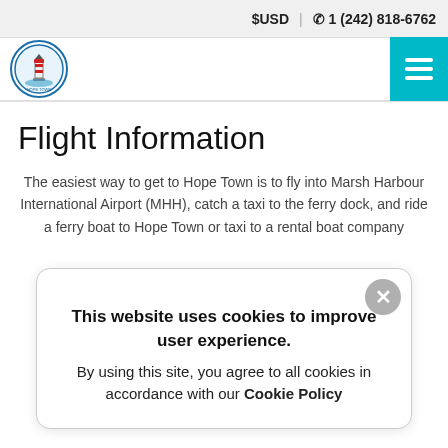$USD  | ☎ 1 (242) 818-6762
[Figure (logo): Circular lighthouse logo with red, white and blue design]
Flight Information
The easiest way to get to Hope Town is to fly into Marsh Harbour International Airport (MHH), catch a taxi to the ferry dock, and ride a ferry boat to Hope Town or taxi to a rental boat company
This website uses cookies to improve user experience.
By using this site, you agree to all cookies in accordance with our Cookie Policy